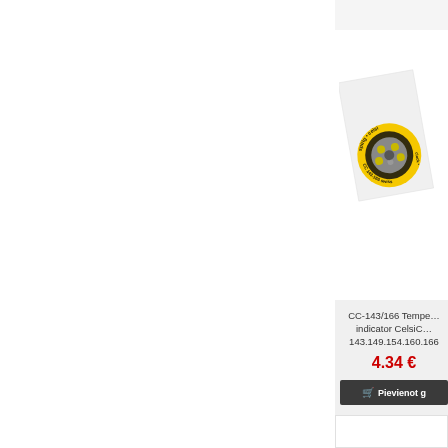[Figure (photo): Product photo of CC-143/166 temperature indicator CelsiClock on a white background, showing a round yellow badge with black text 'spirig celsi clock CC 143-166 swiss' and LED components in the center]
CC-143/166 Temperature indicator CelsiClock 143.149.154.160.166
4.34 €
Pievienot g
Ir pieejams: